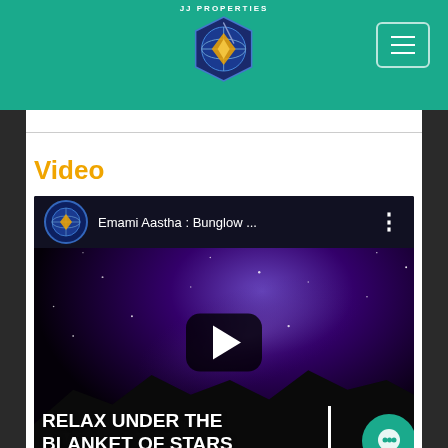JJ Properties - Header navigation
Video
[Figure (screenshot): YouTube video thumbnail for 'Emami Aastha : Bunglow ...' showing a night sky with Milky Way galaxy, a play button, and text 'RELAX UNDER THE BLANKET OF STARS']